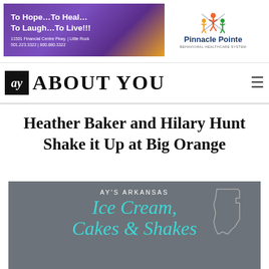[Figure (other): Pinnacle Pointe Behavioral Healthcare System advertisement banner with purple/gold gradient background on left side reading 'To Hope...To Heal... To Laugh...To Live!!!' with address '11501 Financial Centre Pkwy. | Little Rock 501.223.3322 | 800.880.3322', and Pinnacle Pointe logo on white right side]
ay ABOUT YOU
Heather Baker and Hilary Hunt Shake it Up at Big Orange
[Figure (other): Gray background promotional image reading 'AY's ARKANSAS Ice Cream, Cakes & Shakes' in white and teal cursive text with Arkansas state outline silhouette]